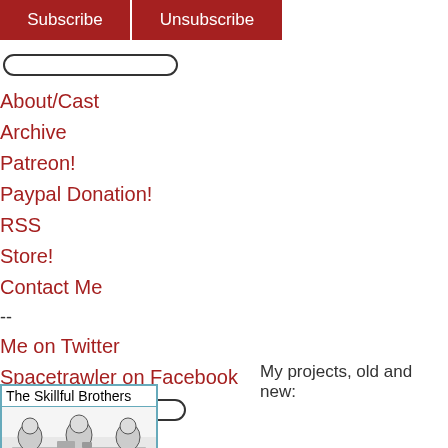Subscribe | Unsubscribe
[search box]
About/Cast
Archive
Patreon!
Paypal Donation!
RSS
Store!
Contact Me
--
Me on Twitter
Spacetrawler on Facebook
[search box]
My projects, old and new:
[Figure (illustration): The Skillful Brothers comic thumbnail with illustrated scene of characters at a table]
Glens Falls